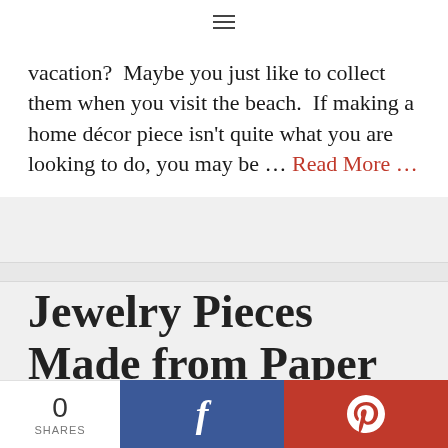≡
vacation?  Maybe you just like to collect them when you visit the beach.  If making a home décor piece isn't quite what you are looking to do, you may be … Read More …
Jewelry Pieces Made from Paper Clips
March 24, 2016 by Larissa Coleman
[Figure (photo): Article thumbnail image strip at bottom of page]
0 SHARES
f (Facebook share button)
P (Pinterest share button)